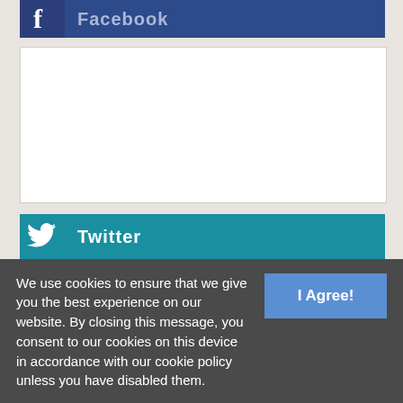[Figure (screenshot): Facebook social media button bar with dark blue background, Facebook 'f' icon on the left, and 'Facebook' text in light blue]
[Figure (screenshot): White content box (blank/empty area)]
[Figure (screenshot): Twitter social media button bar with teal background, Twitter bird icon on the left, and 'Twitter' text in white]
We use cookies to ensure that we give you the best experience on our website. By closing this message, you consent to our cookies on this device in accordance with our cookie policy unless you have disabled them.
I Agree!